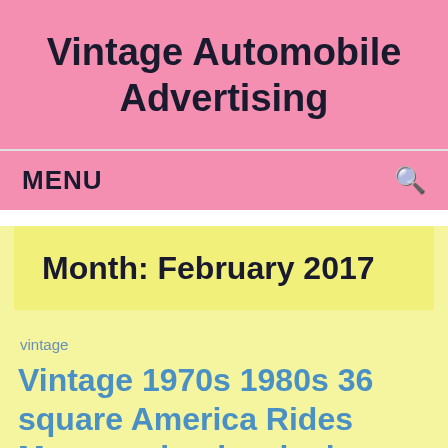Vintage Automobile Advertising
MENU
Month: February 2017
vintage
Vintage 1970s 1980s 36 square America Rides Monroe shocks clock